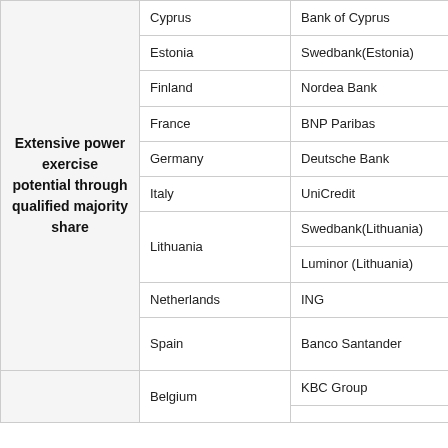| Category | Country | Bank | Code |
| --- | --- | --- | --- |
| Extensive power exercise potential through qualified majority share | Cyprus | Bank of Cyprus | 1b |
| Extensive power exercise potential through qualified majority share | Estonia | Swedbank(Estonia) | 2a |
| Extensive power exercise potential through qualified majority share | Finland | Nordea Bank | 1b, 2a |
| Extensive power exercise potential through qualified majority share | France | BNP Paribas | 1a |
| Extensive power exercise potential through qualified majority share | Germany | Deutsche Bank | 1a |
| Extensive power exercise potential through qualified majority share | Italy | UniCredit | 1a |
| Extensive power exercise potential through qualified majority share | Lithuania | Swedbank(Lithuania) | 2b |
| Extensive power exercise potential through qualified majority share | Lithuania | Luminor (Lithuania) | 2b |
| Extensive power exercise potential through qualified majority share | Netherlands | ING | 1a, 1b |
| Extensive power exercise potential through qualified majority share | Spain | Banco Santander | 1a, 1b, 2a |
|  | Belgium | KBC Group | 2b |
|  | Belgium |  |  |